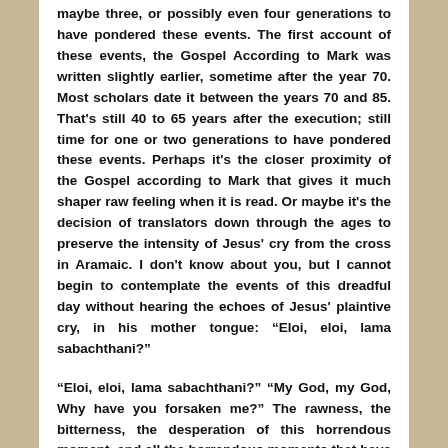maybe three, or possibly even four generations to have pondered these events. The first account of these events, the Gospel According to Mark was written slightly earlier, sometime after the year 70. Most scholars date it between the years 70 and 85. That's still 40 to 65 years after the execution; still time for one or two generations to have pondered these events. Perhaps it's the closer proximity of the Gospel according to Mark that gives it much shaper raw feeling when it is read. Or maybe it's the decision of translators down through the ages to preserve the intensity of Jesus' cry from the cross in Aramaic. I don't know about you, but I cannot begin to contemplate the events of this dreadful day without hearing the echoes of Jesus' plaintive cry, in his mother tongue: “Eloi, eloi, lama sabachthani?”
“Eloi, eloi, lama sabachthani?” “My God, my God, Why have you forsaken me?” The rawness, the bitterness, the desperation of this horrendous moment, and all the horrendous moments that have transpired before or since are captured in Jesus plea.